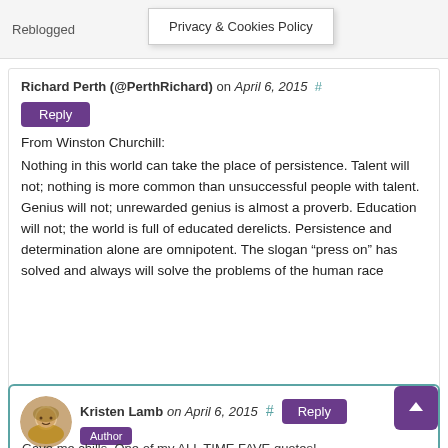Reblogged
Privacy & Cookies Policy
Richard Perth (@PerthRichard) on April 6, 2015  #
Reply
From Winston Churchill:
Nothing in this world can take the place of persistence. Talent will not; nothing is more common than unsuccessful people with talent. Genius will not; unrewarded genius is almost a proverb. Education will not; the world is full of educated derelicts. Persistence and determination alone are omnipotent. The slogan “press on” has solved and always will solve the problems of the human race
Kristen Lamb on April 6, 2015  #  Reply
Author
Gave me chills. One of my ALL TIME FAVE quotes!